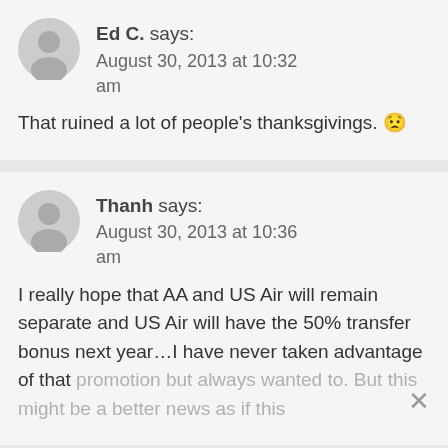Ed C. says: August 30, 2013 at 10:32 am
That ruined a lot of people's thanksgivings. 😬
Thanh says: August 30, 2013 at 10:36 am
I really hope that AA and US Air will remain separate and US Air will have the 50% transfer bonus next year…I have never taken advantage of that promotion but always wanted to. But this might be a better news as if this